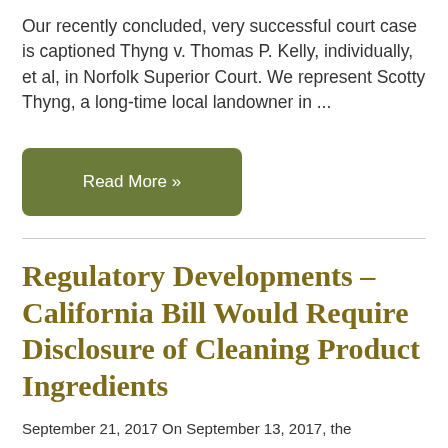Our recently concluded, very successful court case is captioned Thyng v. Thomas P. Kelly, individually, et al, in Norfolk Superior Court. We represent Scotty Thyng, a long-time local landowner in ...
Read More »
Regulatory Developments – California Bill Would Require Disclosure of Cleaning Product Ingredients
September 21, 2017 On September 13, 2017, the